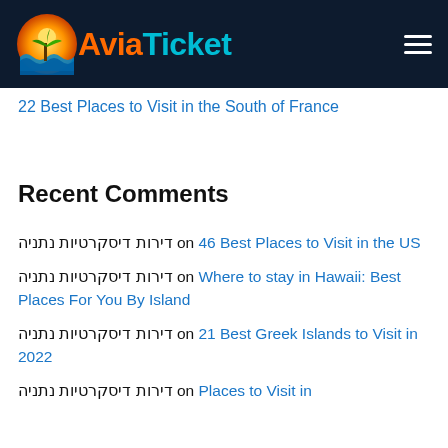AviaTicket
22 Best Places to Visit in the South of France
Recent Comments
דירות דיסקרטיות נתניה on 46 Best Places to Visit in the US
דירות דיסקרטיות נתניה on Where to stay in Hawaii: Best Places For You By Island
דירות דיסקרטיות נתניה on 21 Best Greek Islands to Visit in 2022
דירות דיסקרטיות נתניה on Places to Visit in